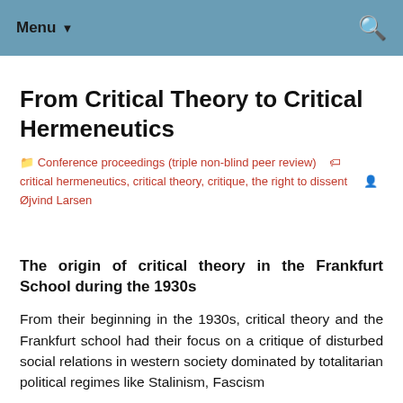Menu ▾
From Critical Theory to Critical Hermeneutics
Conference proceedings (triple non-blind peer review)  critical hermeneutics, critical theory, critique, the right to dissent  Øjvind Larsen
The origin of critical theory in the Frankfurt School during the 1930s
From their beginning in the 1930s, critical theory and the Frankfurt school had their focus on a critique of disturbed social relations in western society dominated by totalitarian political regimes like Stalinism, Fascism...